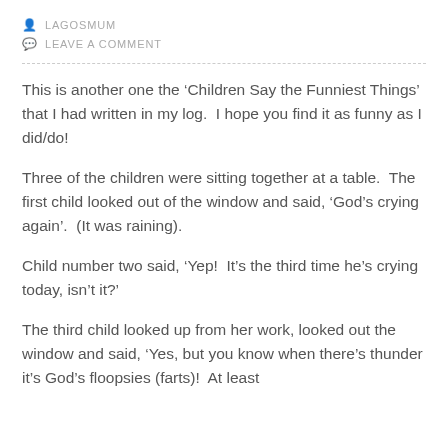LAGOSMUM
LEAVE A COMMENT
This is another one the ‘Children Say the Funniest Things’ that I had written in my log.  I hope you find it as funny as I did/do!
Three of the children were sitting together at a table.  The first child looked out of the window and said, ‘God’s crying again’.  (It was raining).
Child number two said, ‘Yep!  It’s the third time he’s crying today, isn’t it?’
The third child looked up from her work, looked out the window and said, ‘Yes, but you know when there’s thunder it’s God’s floopsies (farts)!  At least